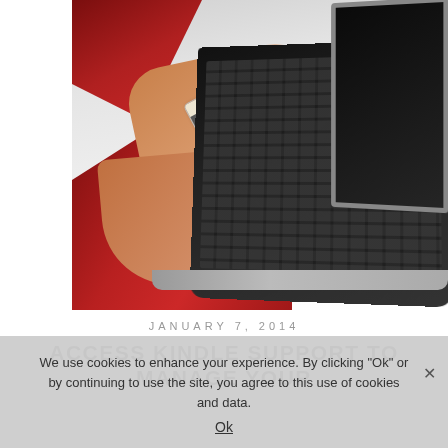[Figure (photo): Hands in red knit sweater sleeves typing on a laptop keyboard while holding a credit card]
JANUARY 7, 2014
ACCESS KINDLE SUPPORT TO MANAGE YOUR
We use cookies to enhance your experience. By clicking "Ok" or by continuing to use the site, you agree to this use of cookies and data.
Ok